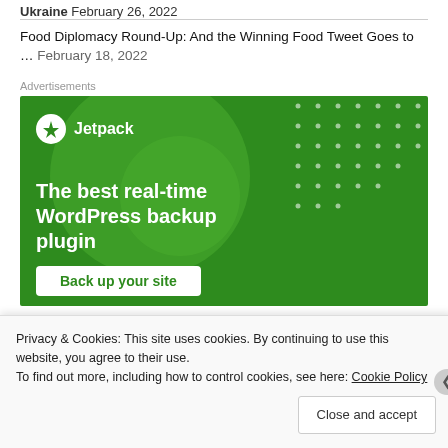Ukraine February 26, 2022
Food Diplomacy Round-Up: And the Winning Food Tweet Goes to … February 18, 2022
Advertisements
[Figure (other): Jetpack advertisement banner with green background showing 'The best real-time WordPress backup plugin' and 'Back up your site' button]
Privacy & Cookies: This site uses cookies. By continuing to use this website, you agree to their use.
To find out more, including how to control cookies, see here: Cookie Policy
Close and accept